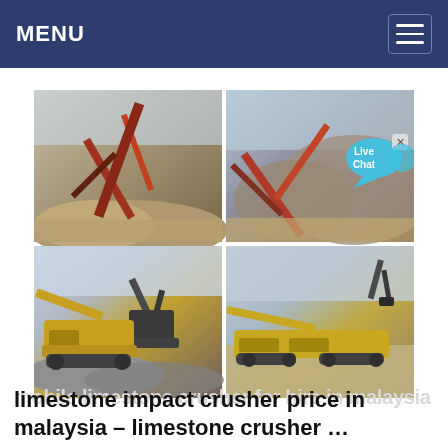MENU
[Figure (photo): Four-panel grid of mining/quarry crusher equipment photos: top-left shows a large conveyor/sorting machine at a quarry with sand piles; top-right shows a similar conveyor screening plant at a quarry; bottom-left shows a yellow mobile jaw crusher with an excavator working on gravel; bottom-right shows a yellow mobile impact crusher on a sandy construction site.]
limestone impact crusher price in malaysia – limestone crusher …